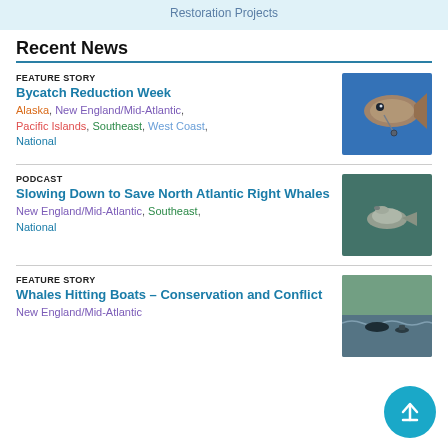Restoration Projects
Recent News
FEATURE STORY
Bycatch Reduction Week
Alaska, New England/Mid-Atlantic, Pacific Islands, Southeast, West Coast, National
[Figure (photo): Underwater photo of a fish with a hook or tag in its mouth, swimming in blue water]
PODCAST
Slowing Down to Save North Atlantic Right Whales
New England/Mid-Atlantic, Southeast, National
[Figure (photo): Aerial or drone photo of a North Atlantic right whale swimming at the ocean surface]
FEATURE STORY
Whales Hitting Boats – Conservation and Conflict
New England/Mid-Atlantic
[Figure (photo): Photo of a whale near boats on choppy water near a shore with forested hills in background]